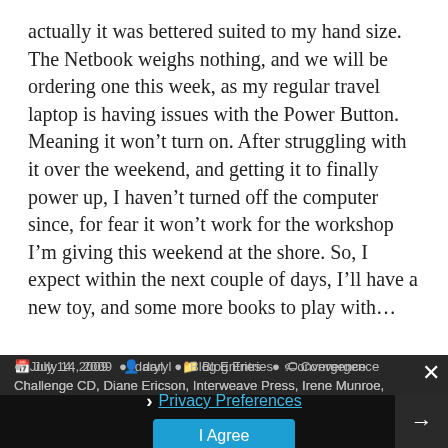actually it was bettered suited to my hand size. The Netbook weighs nothing, and we will be ordering one this week, as my regular travel laptop is having issues with the Power Button. Meaning it won't turn on. After struggling with it over the weekend, and getting it to finally power up, I haven't turned off the computer since, for fear it won't work for the workshop I'm giving this weekend at the shore. So, I expect within the next couple of days, I'll have a new toy, and some more books to play with…
July 14, 2009  daryl  Blog Entries  Convergence Challenge CD, Diane Ericson, Interweave Press, Irene Munroe, Louise Cutting, Nancy Peck, Shuttle Spindle and Dyepot  6 Comments
Privacy Preferences
I Agree